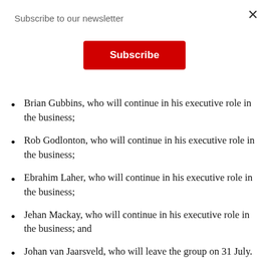Subscribe to our newsletter
Subscribe
Brian Gubbins, who will continue in his executive role in the business;
Rob Godlonton, who will continue in his executive role in the business;
Ebrahim Laher, who will continue in his executive role in the business;
Jehan Mackay, who will continue in his executive role in the business; and
Johan van Jaarsveld, who will leave the group on 31 July.